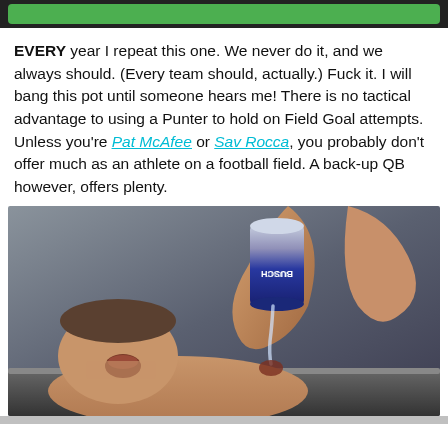[Figure (other): Top banner with dark background and green button/bar element]
EVERY year I repeat this one. We never do it, and we always should. (Every team should, actually.) Fuck it. I will bang this pot until someone hears me! There is no tactical advantage to using a Punter to hold on Field Goal attempts. Unless you're Pat McAfee or Sav Rocca, you probably don't offer much as an athlete on a football field. A back-up QB however, offers plenty.
[Figure (photo): Photo of a person lying back with mouth open while beer is poured from a can into their mouth]